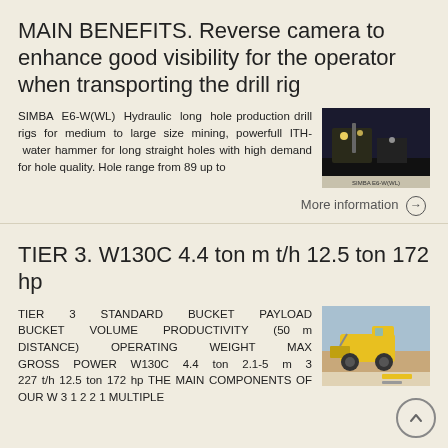MAIN BENEFITS. Reverse camera to enhance good visibility for the operator when transporting the drill rig
SIMBA E6-W(WL) Hydraulic long hole production drill rigs for medium to large size mining, powerfull ITH- water hammer for long straight holes with high demand for hole quality. Hole range from 89 up to
[Figure (photo): Photo of a drill rig in operation underground]
More information →
TIER 3. W130C 4.4 ton m t/h 12.5 ton 172 hp
TIER 3 STANDARD BUCKET PAYLOAD BUCKET VOLUME PRODUCTIVITY (50 m DISTANCE) OPERATING WEIGHT MAX GROSS POWER W130C 4.4 ton 2.1-5 m 3 227 t/h 12.5 ton 172 hp THE MAIN COMPONENTS OF OUR W 3 1 2 2 1 MULTIPLE
[Figure (photo): Photo of a yellow wheel loader machine outdoors]